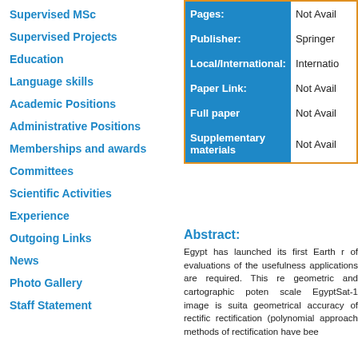Supervised MSc
Supervised Projects
Education
Language skills
Academic Positions
Administrative Positions
Memberships and awards
Committees
Scientific Activities
Experience
Outgoing Links
News
Photo Gallery
Staff Statement
| Field | Value |
| --- | --- |
| Pages: | Not Avail |
| Publisher: | Springer |
| Local/International: | Internatio |
| Paper Link: | Not Avail |
| Full paper | Not Avail |
| Supplementary materials | Not Avail |
Abstract:
Egypt has launched its first Earth r... of evaluations of the usefulness applications are required. This re geometric and cartographic poten scale EgyptSat-1 image is suita geometrical accuracy of rectific rectification (polynomial approach methods of rectification have bee